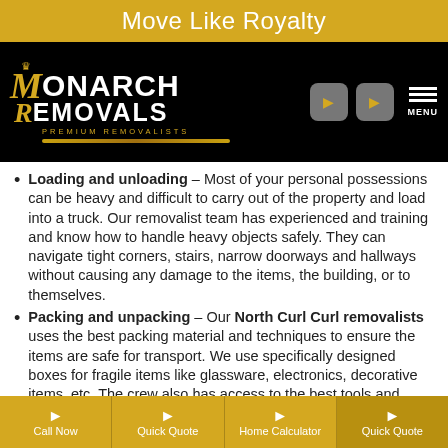Move Like Royalty
[Figure (logo): Monarch Removals Premium Removalists logo on black background with gold and white lettering, navigation icons and MENU button]
Loading and unloading – Most of your personal possessions can be heavy and difficult to carry out of the property and load into a truck. Our removalist team has experienced and training and know how to handle heavy objects safely. They can navigate tight corners, stairs, narrow doorways and hallways without causing any damage to the items, the building, or to themselves.
Packing and unpacking – Our North Curl Curl removalists uses the best packing material and techniques to ensure the items are safe for transport. We use specifically designed boxes for fragile items like glassware, electronics, decorative items, etc. The crew also has access to the best tools and equipment to help speed
Call Now | Quick Quote | Home Calculator | Quick Quote